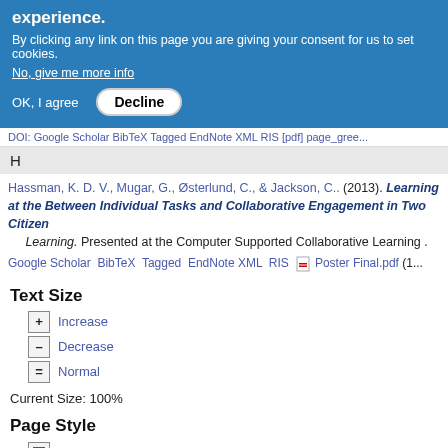experience.
By clicking any link on this page you are giving your consent for us to set cookies. No, give me more info
OK, I agree   Decline
DOI: Google Scholar BibTeX Tagged EndNote XML RIS [pdf] page_gree...
H
Hassman, K. D. V., Mugar, G., Østerlund, C., & Jackson, C.. (2013). Learning at the Between Individual Tasks and Collaborative Engagement in Two Citizen Learning. Presented at the Computer Supported Collaborative Learning .
Google Scholar   BibTeX   Tagged   EndNote XML   RIS   [pdf] Poster Final.pdf (1...
Text Size
+ Increase
— Decrease
= Normal
Current Size: 100%
Page Style
Black/White